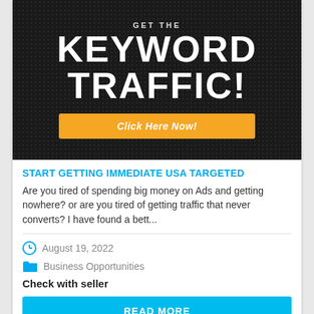[Figure (illustration): Dark textured banner with large white bold text reading 'KEYWORD TRAFFIC!' and a yellow/orange button labeled 'Click Here Now!']
START GETTING IMMEDIATE USA TARGETED
Are you tired of spending big money on Ads and getting nowhere? or are you tired of getting traffic that never converts? I have found a bett...
August 19, 2022
Business Opportunities
Check with seller
READ MORE
VIEW WEBSITE